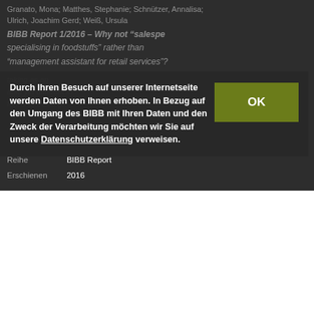Granato, Mona; Matthes, Stephanie; Schnützer, Annalisa; Ulrich, Joachim Gerd; Weiß, Ursula
BIBB Report 1/2016 – Why not “salesperson specialising in foodstuffs” rather than “management assistant for retail services”? ... taking as an ... ated yet different in forms of training.
Durch Ihren Besuch auf unserer Internetseite werden Daten von Ihnen erhoben. In Bezug auf den Umgang des BIBB mit Ihren Daten und den Zweck der Verarbeitung möchten wir Sie auf unsere Datenschutzerklärung verweisen.
Reihe   BIBB Report
Erschienen   2016
[Figure (illustration): Book cover of COMPENDIUM: Quality of In-Company Vocational Education and Training, light blue/teal geometric triangle pattern design]